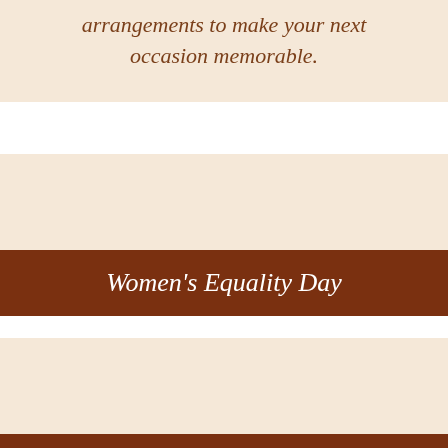arrangements to make your next occasion memorable.
[Figure (illustration): Beige/cream colored image placeholder for Women's Equality Day floral arrangement]
Women's Equality Day
[Figure (illustration): Beige/cream colored image placeholder for Birthday Flowers arrangement]
Birthday Flowers